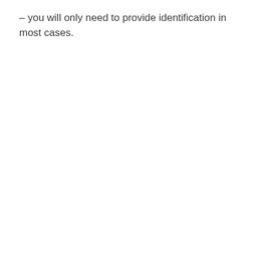– you will only need to provide identification in most cases.